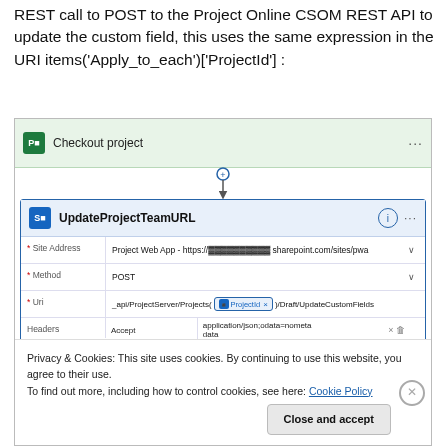REST call to POST to the Project Online CSOM REST API to update the custom field, this uses the same expression in the URI items('Apply_to_each')['ProjectId'] :
[Figure (screenshot): Screenshot of a Power Automate flow showing a 'Checkout project' step connected to an 'UpdateProjectTeamURL' action. The action fields show Site Address set to 'Project Web App - https://[redacted].sharepoint.com/sites/pwa', Method set to 'POST', Uri field showing '_api/ProjectServer/Projects(' followed by a 'ProjectId' chip and ')/Draft/UpdateCustomFields', and Headers with Accept: application/json;odata=nometadata and Content-Type: application/json;odata=nometa. A cookie consent banner overlays the bottom portion.]